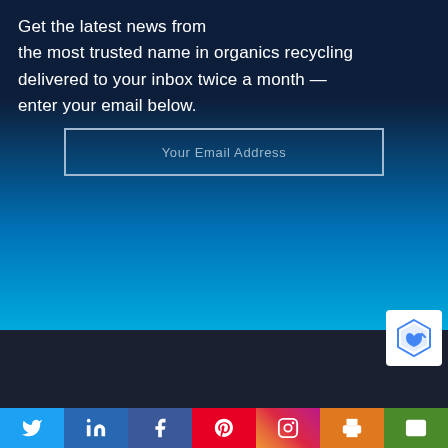Get the latest news from the most trusted name in organics recycling delivered to your inbox twice a month — enter your email below.
[Figure (infographic): Email signup form with a text input field labeled 'Your Email Address' and a red button labeled 'SIGN UP NOW!']
[Figure (infographic): Social sharing bar with icons for Twitter, LinkedIn, Facebook, Pinterest, Instagram, Print, and Email on colored backgrounds]
[Figure (other): reCAPTCHA badge in the bottom right corner]